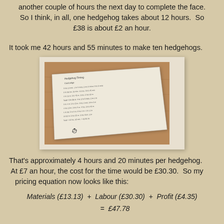another couple of hours the next day to complete the face. So I think, in all, one hedgehog takes about 12 hours.  So £38 is about £2 an hour.
It took me 42 hours and 55 minutes to make ten hedgehogs.
[Figure (photo): A handwritten note on a piece of paper lying on a wooden table, photographed from above at a slight angle.]
That's approximately 4 hours and 20 minutes per hedgehog.  At £7 an hour, the cost for the time would be £30.30.  So my pricing equation now looks like this: